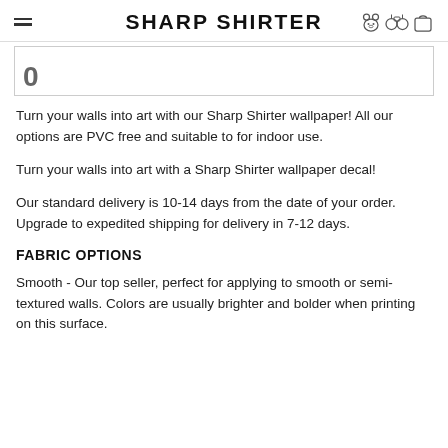SHARP SHIRTER
[Figure (other): Partial product image with a large '0' visible, inside a bordered box]
Turn your walls into art with our Sharp Shirter wallpaper! All our options are PVC free and suitable to for indoor use.
Turn your walls into art with a Sharp Shirter wallpaper decal!
Our standard delivery is 10-14 days from the date of your order. Upgrade to expedited shipping for delivery in 7-12 days.
FABRIC OPTIONS
Smooth - Our top seller, perfect for applying to smooth or semi-textured walls. Colors are usually brighter and bolder when printing on this surface.